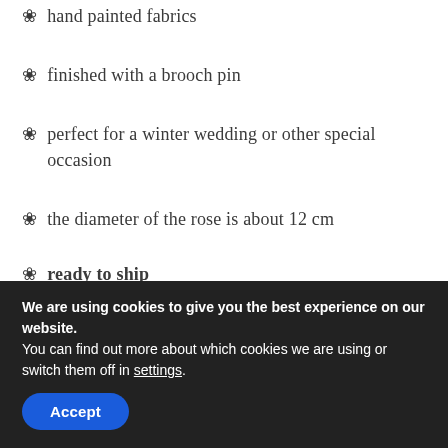hand painted fabrics
finished with a brooch pin
perfect for a winter wedding or other special occasion
the diameter of the rose is about 12 cm
ready to ship
The piece is in perfect condition unworn and unused, it has been discounted as a sample from
We are using cookies to give you the best experience on our website.
You can find out more about which cookies we are using or switch them off in settings.
Accept